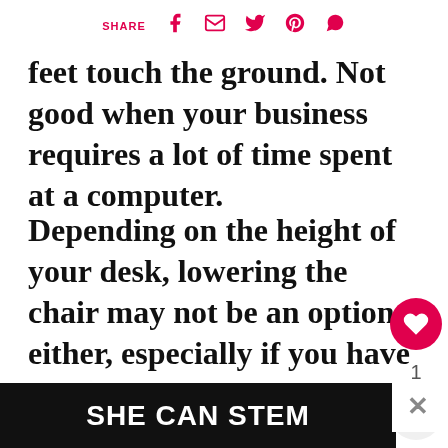SHARE
feet touch the ground. Not good when your business requires a lot of time spent at a computer.
Depending on the height of your desk, lowering the chair may not be an option either, especially if you have a laptop computer. The handmade office chair bolster pillow scoots you forward so your feet touch the ground, provides much-needed back support
WHAT'S NEXT → Ticking Stripe Heart Wreat...
SHE CAN STEM